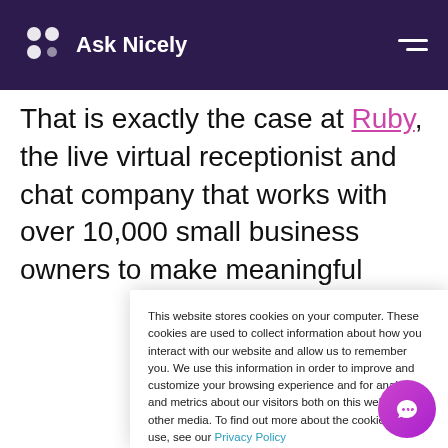Ask Nicely
That is exactly the case at Ruby, the live virtual receptionist and chat company that works with over 10,000 small business owners to make meaningful
This website stores cookies on your computer. These cookies are used to collect information about how you interact with our website and allow us to remember you. We use this information in order to improve and customize your browsing experience and for analytics and metrics about our visitors both on this website and other media. To find out more about the cookies we use, see our Privacy Policy

If you decline, your information won't be tracked when you visit this website. A single cookie will be used in your browser to remember your preference not to be tracked.
Accept
Decline